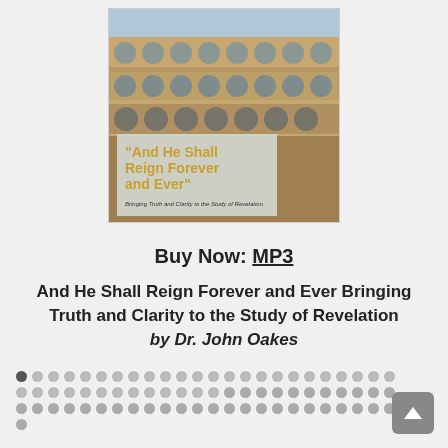[Figure (photo): Book cover image showing the Roman Colosseum as background with a white/grey banner overlay displaying the title 'And He Shall Reign Forever and Ever' in gold bold text and subtitle 'Bringing Truth and Clarity to the Study of Revelation' in smaller text]
Buy Now: MP3
And He Shall Reign Forever and Ever Bringing Truth and Clarity to the Study of Revelation by Dr. John Oakes